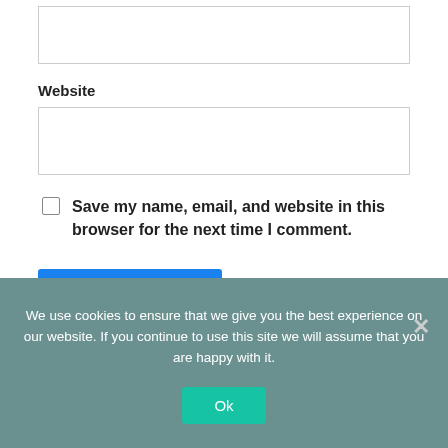(input field — top, no label visible)
Website
(Website input field)
Save my name, email, and website in this browser for the next time I comment.
Post Comment
Advertisement
We use cookies to ensure that we give you the best experience on our website. If you continue to use this site we will assume that you are happy with it.
Ok